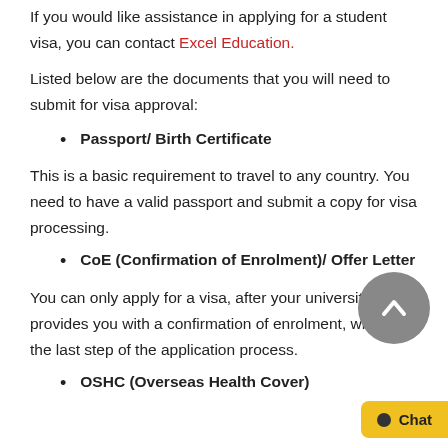If you would like assistance in applying for a student visa, you can contact Excel Education.
Listed below are the documents that you will need to submit for visa approval:
Passport/ Birth Certificate
This is a basic requirement to travel to any country. You need to have a valid passport and submit a copy for visa processing.
CoE (Confirmation of Enrolment)/ Offer Letter
You can only apply for a visa, after your university provides you with a confirmation of enrolment, which is the last step of the application process.
OSHC (Overseas Health Cover)